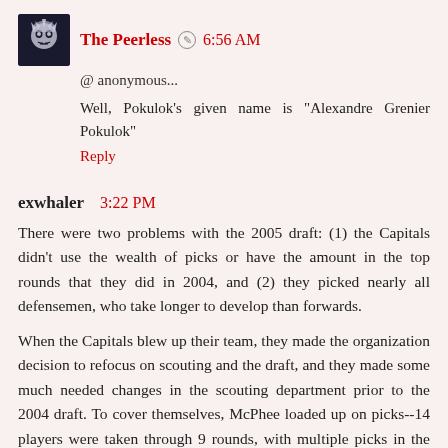The Peerless [edit icon] 6:56 AM
@ anonymous...
Well, Pokulok's given name is "Alexandre Grenier Pokulok"
Reply
exwhaler 3:22 PM
There were two problems with the 2005 draft: (1) the Capitals didn't use the wealth of picks or have the amount in the top rounds that they did in 2004, and (2) they picked nearly all defensemen, who take longer to develop than forwards.
When the Capitals blew up their team, they made the organization decision to refocus on scouting and the draft, and they made some much needed changes in the scouting department prior to the 2004 draft. To cover themselves, McPhee loaded up on picks--14 players were taken through 9 rounds, with multiple picks in the first, second, third, and fifth rounds (no fourth rounders were taken). So far, three players have made the